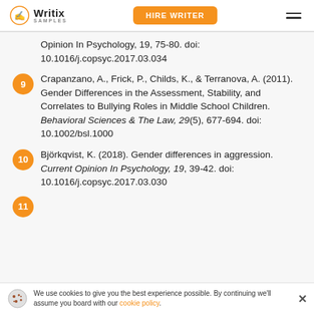Writix SAMPLES | HIRE WRITER
Opinion In Psychology, 19, 75-80. doi: 10.1016/j.copsyc.2017.03.034
9. Crapanzano, A., Frick, P., Childs, K., & Terranova, A. (2011). Gender Differences in the Assessment, Stability, and Correlates to Bullying Roles in Middle School Children. Behavioral Sciences & The Law, 29(5), 677-694. doi: 10.1002/bsl.1000
10. Björkqvist, K. (2018). Gender differences in aggression. Current Opinion In Psychology, 19, 39-42. doi: 10.1016/j.copsyc.2017.03.030
11.